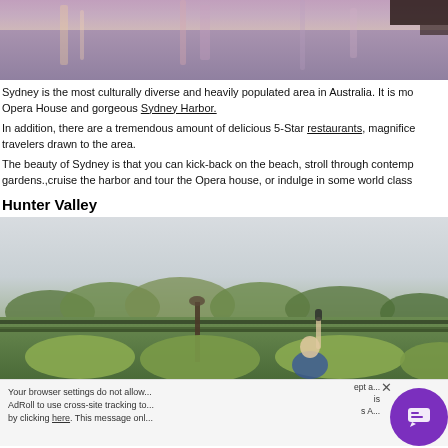[Figure (photo): Top portion of a waterfront/harbour scene with pink and purple sunset reflections on water, cropped to show mostly water and sky reflections.]
Sydney is the most culturally diverse and heavily populated area in Australia. It is mo... Opera House and gorgeous Sydney Harbor.
In addition, there are a tremendous amount of delicious 5-Star restaurants, magnifice... travelers drawn to the area.
The beauty of Sydney is that you can kick-back on the beach, stroll through contemp... gardens.,cruise the harbor and tour the Opera house, or indulge in some world class...
Hunter Valley
[Figure (photo): A person holding up a wine bottle in a vineyard with rows of vines and trees in the background under an overcast sky — Hunter Valley wine region.]
Your browser settings do not allow... AdRoll to use cross-site tracking to... by clicking here. This message onl...
We're offline
Leave a message